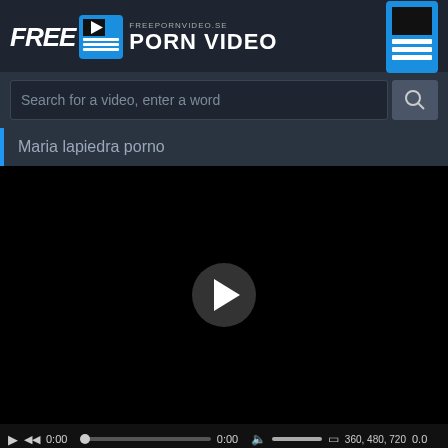[Figure (logo): FreePornVideo.se Porn Video website logo with film clapper icon and FREE text]
Search for a video, enter a word
Maria lapiedra porno
[Figure (screenshot): Black video player with play button in center and video controls bar at bottom showing 0:00, progress bar, volume, quality options 360 480 720, and 0.0]